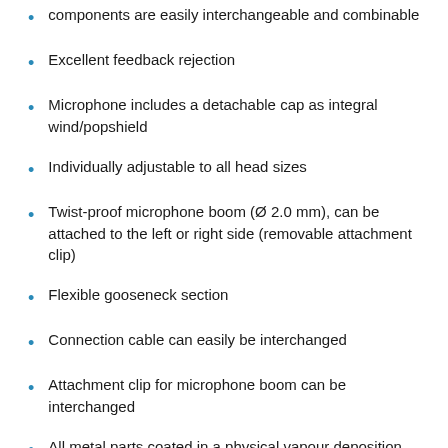components are easily interchangeable and combinable
Excellent feedback rejection
Microphone includes a detachable cap as integral wind/popshield
Individually adjustable to all head sizes
Twist-proof microphone boom (Ø 2.0 mm), can be attached to the left or right side (removable attachment clip)
Flexible gooseneck section
Connection cable can easily be interchanged
Attachment clip for microphone boom can be interchanged
All metal parts coated in a physical vapour deposition process